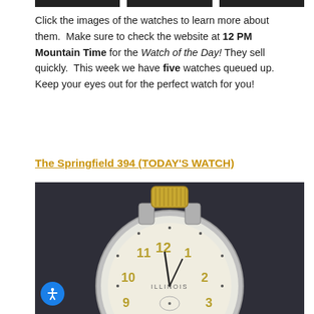[Figure (other): Three dark rectangular watch thumbnail images at the top of the page]
Click the images of the watches to learn more about them. Make sure to check the website at 12 PM Mountain Time for the Watch of the Day! They sell quickly. This week we have five watches queued up. Keep your eyes out for the perfect watch for you!
The Springfield 394 (TODAY'S WATCH)
[Figure (photo): Close-up photograph of an Illinois pocket watch movement converted to wristwatch, showing the dial with Arabic numerals (9, 10, 11, 12, 1, 2, 3) and Illinois brand text, with a gold-toned crown/winding knob at top, set against a dark gray background. A blue accessibility icon button is visible in the lower-left corner.]